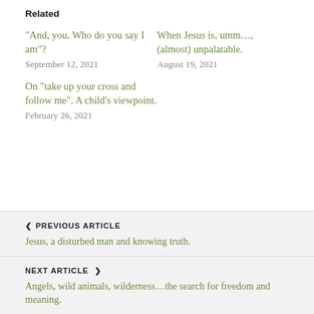Related
“And, you. Who do you say I am”?
September 12, 2021
When Jesus is, umm…, (almost) unpalatable.
August 19, 2021
On “take up your cross and follow me”. A child’s viewpoint.
February 26, 2021
‹ PREVIOUS ARTICLE
Jesus, a disturbed man and knowing truth.
NEXT ARTICLE ›
Angels, wild animals, wilderness…the search for freedom and meaning.